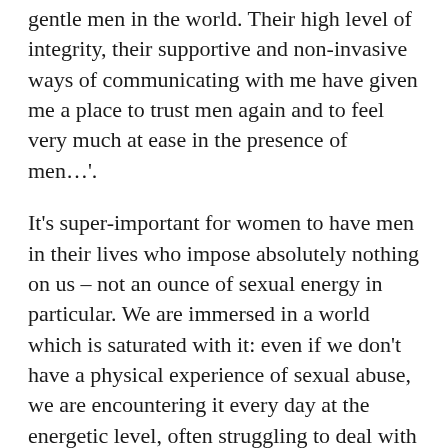gentle men in the world. Their high level of integrity, their supportive and non-invasive ways of communicating with me have given me a place to trust men again and to feel very much at ease in the presence of men…'.
It's super-important for women to have men in their lives who impose absolutely nothing on us – not an ounce of sexual energy in particular. We are immersed in a world which is saturated with it: even if we don't have a physical experience of sexual abuse, we are encountering it every day at the energetic level, often struggling to deal with it or blocking our awareness of it in numerous and inventive ways – and sometimes even enjoining it. Feeling the respect that is so present in the Benhayon men is a truly healing gift for it demonstrates